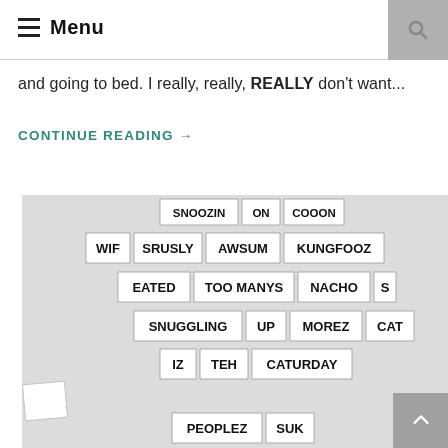Menu
and going to bed. I really, really, REALLY don't want...
CONTINUE READING →
[Figure (photo): Refrigerator magnet words arranged to spell phrases including: SNOOZIN ON COOON, WIF SRUSLY AWSUM KUNGFOOZ, EATED TOO MANYS NACHO S, SNUGGLING UP MOREZ CAT, IZ TEH CATURDAY, PEOPLEZ SUK]